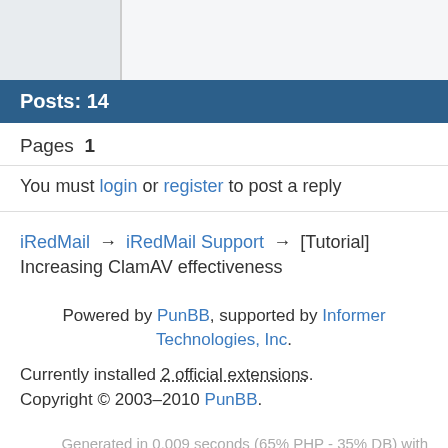Posts: 14
Pages  1
You must login or register to post a reply
iRedMail → iRedMail Support → [Tutorial] Increasing ClamAV effectiveness
Powered by PunBB, supported by Informer Technologies, Inc.
Currently installed 2 official extensions. Copyright © 2003–2010 PunBB.
Generated in 0.009 seconds (65% PHP - 35% DB) with 10 queries